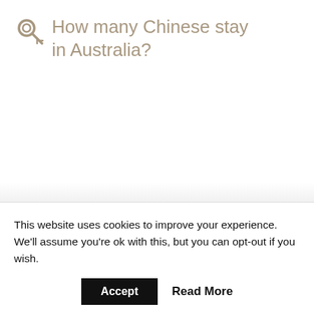How many Chinese stay in Australia?
This website uses cookies to improve your experience. We'll assume you're ok with this, but you can opt-out if you wish.
Accept   Read More